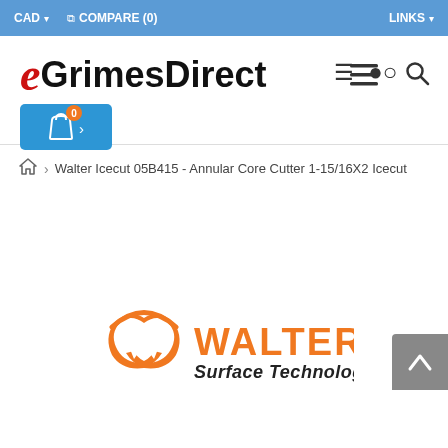CAD ▾   ⧉ COMPARE (0)   LINKS ▾
[Figure (logo): eGrimesDirect logo with red italic e and bold black GrimesDirect text]
[Figure (logo): Walter Surface Technologies logo with orange W symbol and orange WALTER text and black italic Surface Technologies text]
Walter Icecut 05B415 - Annular Core Cutter 1-15/16X2 Icecut